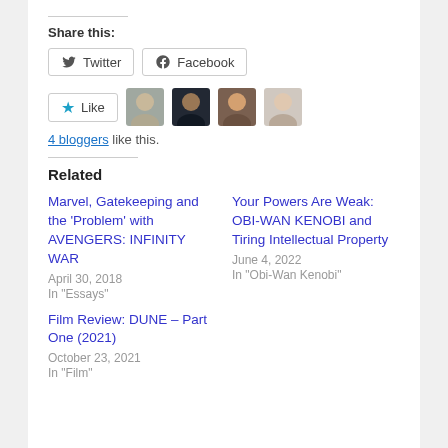Share this:
Twitter  Facebook
Like  [4 blogger avatars]
4 bloggers like this.
Related
Marvel, Gatekeeping and the 'Problem' with AVENGERS: INFINITY WAR
April 30, 2018
In "Essays"
Your Powers Are Weak: OBI-WAN KENOBI and Tiring Intellectual Property
June 4, 2022
In "Obi-Wan Kenobi"
Film Review: DUNE – Part One (2021)
October 23, 2021
In "Film"